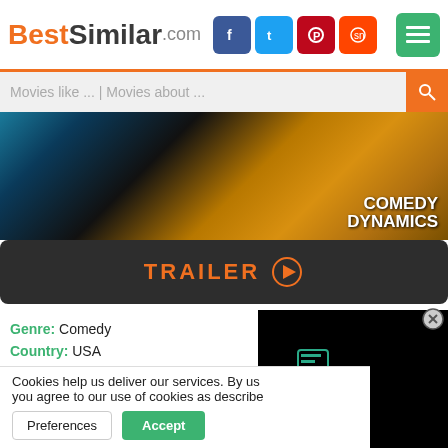BestSimilar.com
Movies like ... | Movies about ...
[Figure (photo): Movie promotional banner with golden costumed figure and Comedy Dynamics branding]
TRAILER ▶
Genre: Comedy
Country: USA
Duration: 63 min.
+ Watchlist
Story: Matt Besser is here to air some grievances and break some comedy records, just don't bring up weed and he'll stay on track.
Style: alternative comedy, live com
Cookies help us deliver our services. By us you agree to our use of cookies as describe
Preferences
Accept